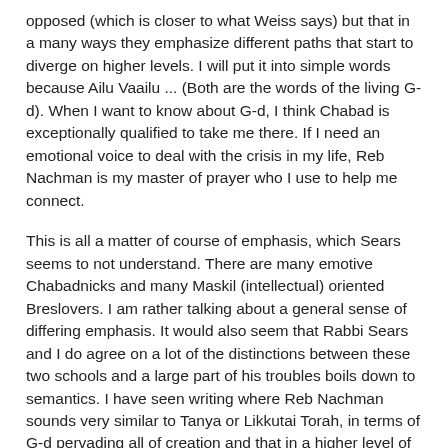opposed (which is closer to what Weiss says) but that in a many ways they emphasize different paths that start to diverge on higher levels. I will put it into simple words because Ailu Vaailu ... (Both are the words of the living G-d). When I want to know about G-d, I think Chabad is exceptionally qualified to take me there. If I need an emotional voice to deal with the crisis in my life, Reb Nachman is my master of prayer who I use to help me connect.
This is all a matter of course of emphasis, which Sears seems to not understand. There are many emotive Chabadnicks and many Maskil (intellectual) oriented Breslovers. I am rather talking about a general sense of differing emphasis. It would also seem that Rabbi Sears and I do agree on a lot of the distinctions between these two schools and a large part of his troubles boils down to semantics. I have seen writing where Reb Nachman sounds very similar to Tanya or Likkutai Torah, in terms of G-d pervading all of creation and that in a higher level of truth, only G-d exists. Nonetheless there is a distinct feeling that Sin is more real and the struggling with sadness is more of